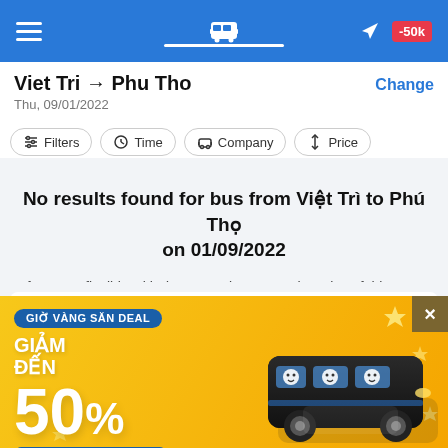Navigation bar with bus icon, hamburger menu, airplane icon and -50k promo badge
Viet Tri → Phu Tho
Thu, 09/01/2022
Change
Filters
Time
Company
Price
No results found for bus from Việt Trì to Phú Thọ on 01/09/2022
If you are flexible with departure time, see other trips of this route on the following dates
[Figure (infographic): Promotional banner: GIỜ VÀNG SĂN DEAL - GIẢM ĐẾN 50% - 12h đến 13h | Ngày 6.9.2022, with a black van illustration on yellow/gold background. Close button (×) on top right.]